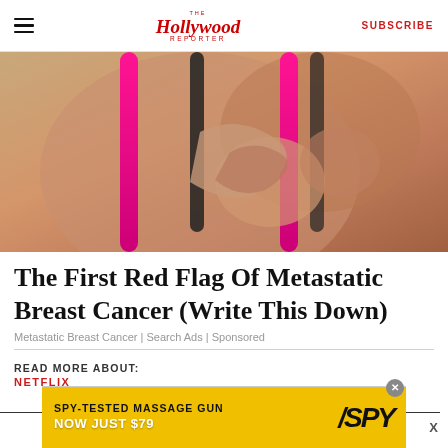The Hollywood Reporter | SUBSCRIBE
[Figure (photo): Close-up photo of a woman in a black and pink sports bra touching her chest area]
The First Red Flag Of Metastatic Breast Cancer (Write This Down)
Metastatic Breast Cancer | Search Ads | Sponsored
READ MORE ABOUT:
NETFLIX
[Figure (screenshot): Advertisement banner: SPY-TESTED MASSAGE GUN NOW JUST $79 with SPY logo on yellow background]